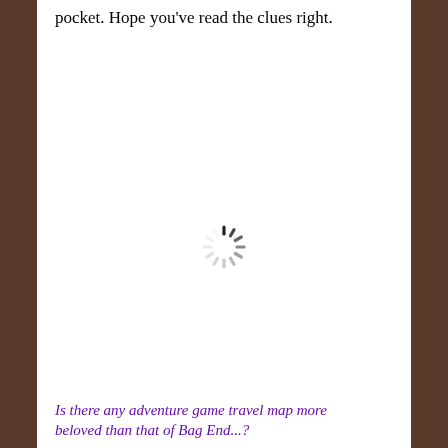pocket. Hope you've read the clues right.
[Figure (other): Loading spinner / throbber icon — a circular arrangement of short dashes radiating outward, resembling a spinning loader indicator, in dark gray/black.]
Is there any adventure game travel map more beloved than that of Bag End...?